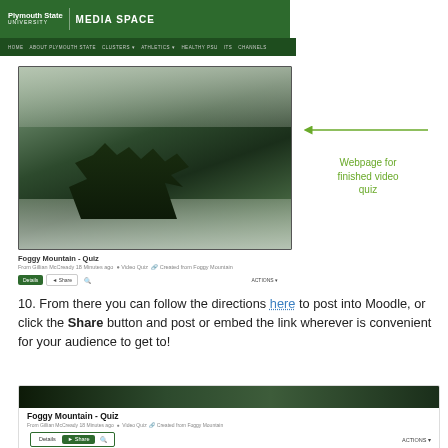[Figure (screenshot): Plymouth State University Media Space webpage header with green navigation bar and video quiz page showing a foggy mountain landscape video thumbnail titled 'Foggy Mountain - Quiz' with Details, Share, and search buttons]
Webpage for finished video quiz
10. From there you can follow the directions here to post into Moodle, or click the Share button and post or embed the link wherever is convenient for your audience to get to!
[Figure (screenshot): Plymouth State University Media Space page showing Foggy Mountain - Quiz video with thumbnail strip, title, metadata line 'From Gillian McCready 18 Minutes ago • Video Quiz • Created from Foggy Mountain', and Details/Share/search buttons with ACTIONS menu]